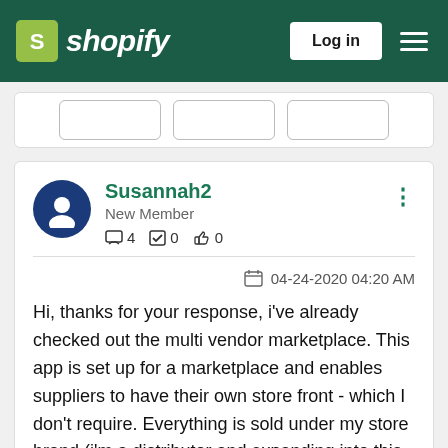shopify — Log in
[Figure (screenshot): Partial view of truncated card with three buttons visible at the top]
Susannah2
New Member
4  0  0
04-24-2020 04:20 AM
Hi, thanks for your response, i've already checked out the multi vendor marketplace.  This app is set up for a marketplace and enables suppliers to have their own store front - which I don't require. Everything is sold under my store brand (i'm a distributor and expanding into this model of not